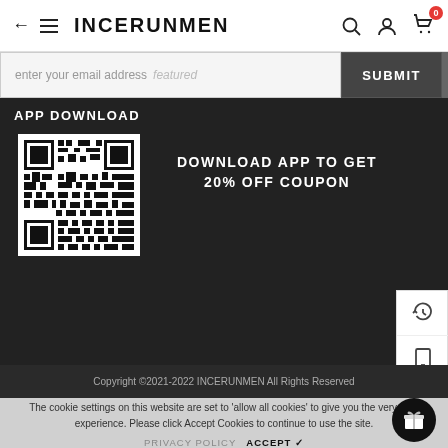← ≡ INCERUNMEN
enter your email address featured
SUBMIT
APP DOWNLOAD
[Figure (other): QR code for app download]
DOWNLOAD APP TO GET 20% OFF COUPON
Copyright ©2021-2022 INCERUNMEN All Rights Reserved
The cookie settings on this website are set to 'allow all cookies' to give you the very best experience. Please click Accept Cookies to continue to use the site.
PRIVACY POLICY   ACCEPT ✔